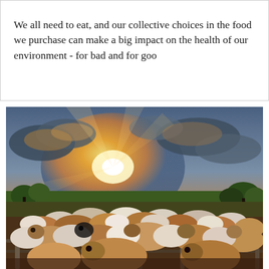We all need to eat, and our collective choices in the food we purchase can make a big impact on the health of our environment - for bad and for goo
[Figure (photo): A large herd of cattle (brown and white cows) densely packed in a feedlot pen with metal fencing in the foreground. The background shows green trees and fields under a dramatic golden sunset sky with large clouds illuminated from below.]